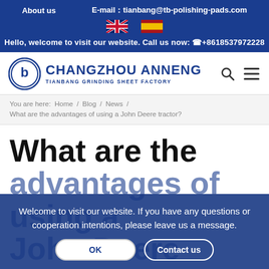About us   E-mail：tianbang@tb-polishing-pads.com
[Figure (other): UK and Spain flag icons in the top header bar]
Hello, welcome to visit our website. Call us now: ☎+86 18537972228
[Figure (logo): Changzhou Anneng Tianbang Grinding Sheet Factory logo with circular blue emblem and company name]
You are here:  Home / Blog / News / What are the advantages of using a John Deere tractor?
What are the advantages of using a John Deere tractor?
NEWS
Welcome to visit our website. If you have any questions or cooperation intentions, please leave us a message.